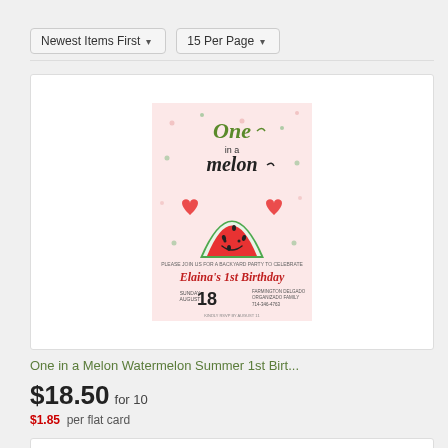Newest Items First
15 Per Page
[Figure (illustration): Birthday party invitation card with 'One in a Melon' watermelon theme. Pink background with watermelon slice illustration, hearts, and text reading 'Elaina's 1st Birthday' with date August 18.]
One in a Melon Watermelon Summer 1st Birt...
$18.50 for 10
$1.85 per flat card